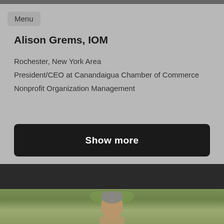Menu
Alison Grems, IOM
Rochester, New York Area
President/CEO at Canandaigua Chamber of Commerce
Nonprofit Organization Management
Show more
[Figure (photo): Portrait photo of a person with brown/gray hair against a green outdoor background]